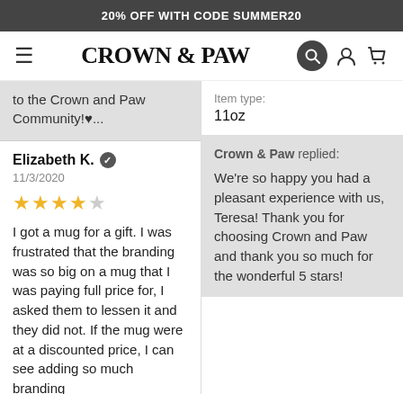20% OFF WITH CODE SUMMER20
[Figure (logo): Crown & Paw navigation bar with hamburger menu, logo, search, account, and cart icons]
to the Crown and Paw Community!♥...
Item type:
11oz
Elizabeth K. ✓
11/3/2020
★★★★☆
I got a mug for a gift. I was frustrated that the branding was so big on a mug that I was paying full price for, I asked them to lessen it and they did not. If the mug were at a discounted price, I can see adding so much branding
Crown & Paw replied:
We're so happy you had a pleasant experience with us, Teresa! Thank you for choosing Crown and Paw and thank you so much for the wonderful 5 stars!